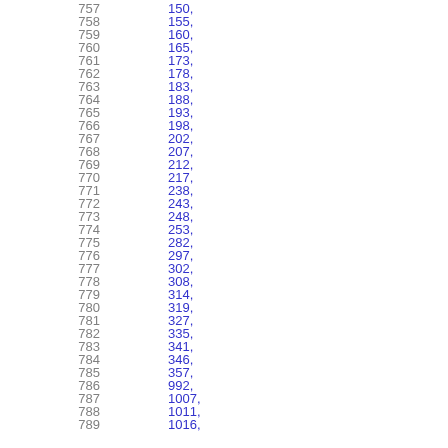757   150,
758   155,
759   160,
760   165,
761   173,
762   178,
763   183,
764   188,
765   193,
766   198,
767   202,
768   207,
769   212,
770   217,
771   238,
772   243,
773   248,
774   253,
775   282,
776   297,
777   302,
778   308,
779   314,
780   319,
781   327,
782   335,
783   341,
784   346,
785   357,
786   992,
787   1007,
788   1011,
789   1016,